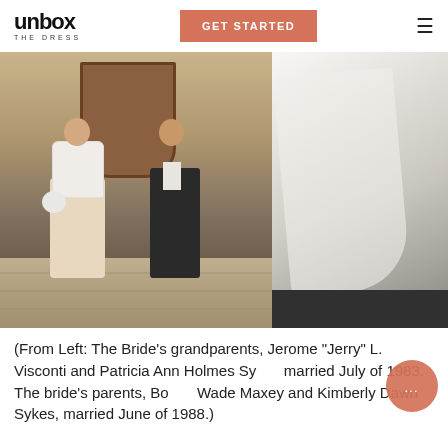unbox THE DRESS | GET STARTED
[Figure (photo): Two side-by-side wedding photos. Left: A bride in a lace-topped dress with puffed sleeves holding a bouquet and a groom in a dark suit walking down church steps together. Right: A close-up of a white/ivory wedding dress with a long flowing veil or train, displayed on a bench or surface.]
(From Left: The Bride's grandparents, Jerome "Jerry" L. Visconti and Patricia Ann Holmes Sykes married July of 1983. The bride's parents, Bobby Wade Maxey and Kimberly Dawn Sykes, married June of 1988.)